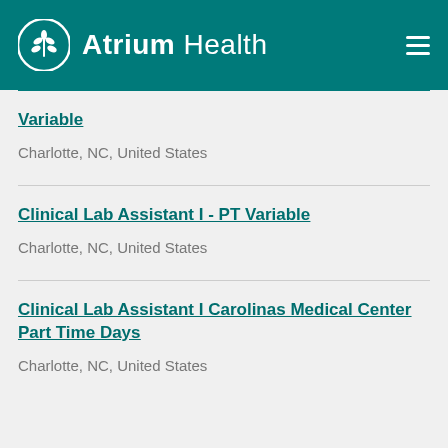[Figure (logo): Atrium Health logo with teal header background, white leaf/wheat circle icon, and brand name 'Atrium Health' in white text, with hamburger menu icon on right]
Variable
Charlotte, NC, United States
Clinical Lab Assistant I - PT Variable
Charlotte, NC, United States
Clinical Lab Assistant I Carolinas Medical Center Part Time Days
Charlotte, NC, United States